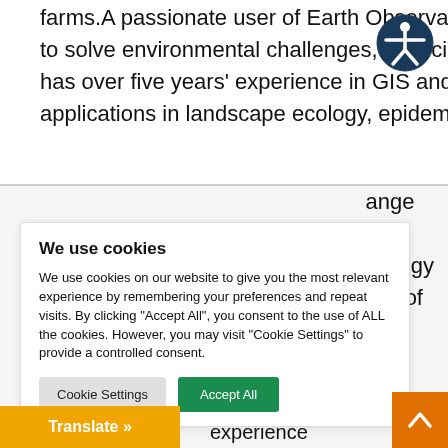farms.A passionate user of Earth Observation Technology to solve environmental challenges, especially in Kenya, she has over five years' experience in GIS and remote sensing applications in landscape ecology, epidemiology,
[Figure (illustration): Accessibility icon: dark blue circle with a white figure (person) with arms outstretched, standard accessibility symbol]
ange
ne
siology
sity of
We use cookies
We use cookies on our website to give you the most relevant experience by remembering your preferences and repeat visits. By clicking "Accept All", you consent to the use of ALL the cookies. However, you may visit "Cookie Settings" to provide a controlled consent.
Cookie Settings | Accept All
PO –
Translate »
is over 10 years of experience